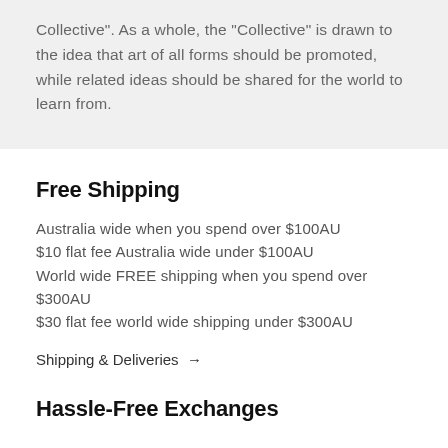Collective". As a whole, the “Collective” is drawn to the idea that art of all forms should be promoted, while related ideas should be shared for the world to learn from.
Free Shipping
Australia wide when you spend over $100AU
$10 flat fee Australia wide under $100AU
World wide FREE shipping when you spend over $300AU
$30 flat fee world wide shipping under $300AU
Shipping & Deliveries →
Hassle-Free Exchanges